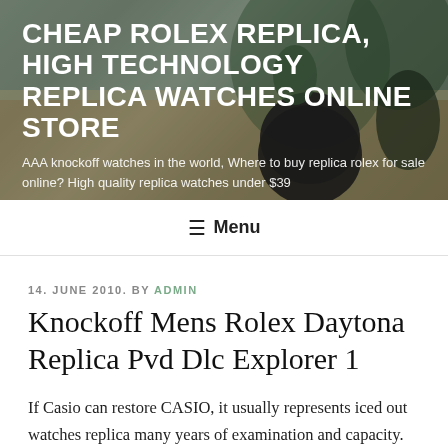[Figure (photo): Hero banner with blurred background photo of plants and decorative objects on a wooden table, with dark overlay]
CHEAP ROLEX REPLICA, HIGH TECHNOLOGY REPLICA WATCHES ONLINE STORE
AAA knockoff watches in the world, Where to buy replica rolex for sale online? High quality replica watches under $39
≡ Menu
14. JUNE 2010. BY ADMIN
Knockoff Mens Rolex Daytona Replica Pvd Dlc Explorer 1
If Casio can restore CASIO, it usually represents iced out watches replica many years of examination and capacity.